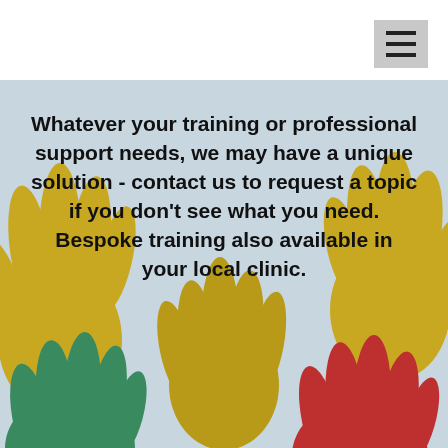[Figure (illustration): Header area with hamburger menu button (three horizontal bars) on grey background in top right corner]
[Figure (illustration): Light blue-grey background with multiple colourful hand silhouettes (yellow, green, red) arranged as raised hands, with bold black text overlay about training and professional support services]
Whatever your training or professional support needs, we may have a unique solution - contact us to request a topic if you don't see what you need. Bespoke training also available in your local clinic.